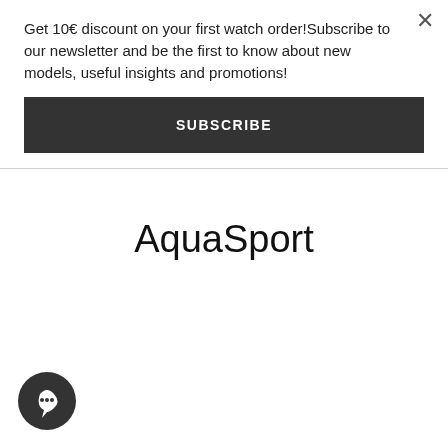Get 10€ discount on your first watch order!Subscribe to our newsletter and be the first to know about new models, useful insights and promotions!
SUBSCRIBE
AquaSport
[Figure (illustration): Dark circular chat/messenger button icon in the bottom-left corner]